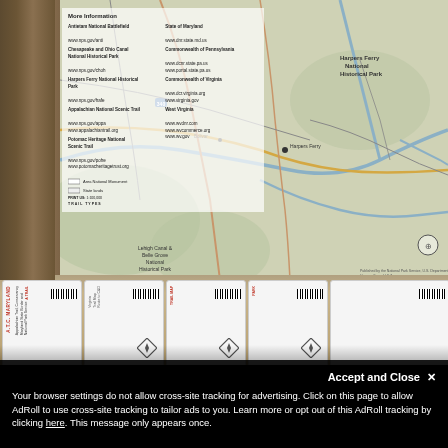[Figure (photo): A photograph showing a NPS (National Park Service) map mounted on a wooden board above a rack of brochures/pamphlets in a visitor center or store. The map shows the Harpers Ferry National Historical Park area and surrounding regions including Maryland, Virginia, and West Virginia. Brochures in plastic holders line the bottom. A cookie consent banner overlays the bottom of the image.]
Accept and Close ✕
Your browser settings do not allow cross-site tracking for advertising. Click on this page to allow AdRoll to use cross-site tracking to tailor ads to you. Learn more or opt out of this AdRoll tracking by clicking here. This message only appears once.